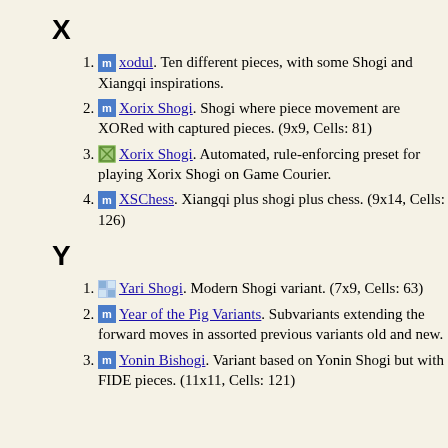X
xodul. Ten different pieces, with some Shogi and Xiangqi inspirations.
Xorix Shogi. Shogi where piece movement are XORed with captured pieces. (9x9, Cells: 81)
Xorix Shogi. Automated, rule-enforcing preset for playing Xorix Shogi on Game Courier.
XSChess. Xiangqi plus shogi plus chess. (9x14, Cells: 126)
Y
Yari Shogi. Modern Shogi variant. (7x9, Cells: 63)
Year of the Pig Variants. Subvariants extending the forward moves in assorted previous variants old and new.
Yonin Bishogi. Variant based on Yonin Shogi but with FIDE pieces. (11x11, Cells: 121)